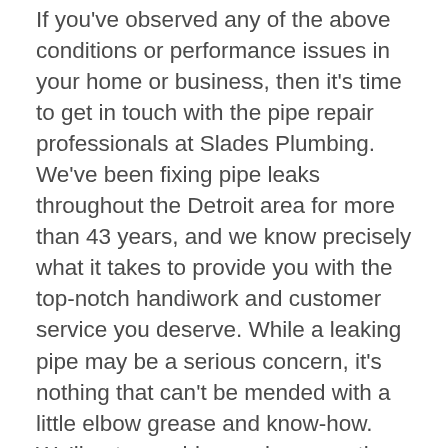If you've observed any of the above conditions or performance issues in your home or business, then it's time to get in touch with the pipe repair professionals at Slades Plumbing. We've been fixing pipe leaks throughout the Detroit area for more than 43 years, and we know precisely what it takes to provide you with the top-notch handiwork and customer service you deserve. While a leaking pipe may be a serious concern, it's nothing that can't be mended with a little elbow grease and know-how. We'll put our wide-ranging expertise and state-of-the-art equipment to the test in order to pinpoint the location of the leak and determine its severity with total accuracy. If need be, we'll even utilize our advanced video inspection technology to get to the inaccessible parts of your plumbing. Once we've assessed the position and degree of the pipe leak, we'll complete the pipe adjustment, patch up the